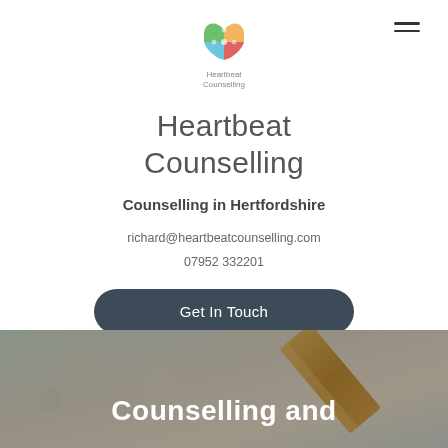[Figure (logo): Heartbeat Counselling logo — colourful heart puzzle piece icon with text 'Heartbeat Counselling' beneath]
Heartbeat Counselling
Counselling in Hertfordshire
richard@heartbeatcounselling.com
07952 332201
Get In Touch
[Figure (photo): Hero image with blurred wooden/natural background and text 'Counselling and' overlaid in white bold text]